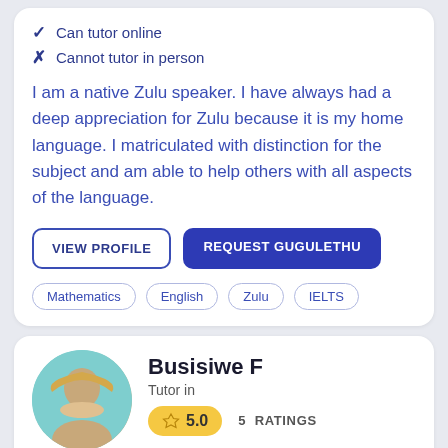✓ Can tutor online
✗ Cannot tutor in person
I am a native Zulu speaker. I have always had a deep appreciation for Zulu because it is my home language. I matriculated with distinction for the subject and am able to help others with all aspects of the language.
VIEW PROFILE | REQUEST GUGULETHU
Mathematics  English  Zulu  IELTS
[Figure (photo): Profile photo of Busisiwe F, a woman wearing a straw hat, smiling]
Busisiwe F
Tutor in
⭐ 5.0   5 RATINGS